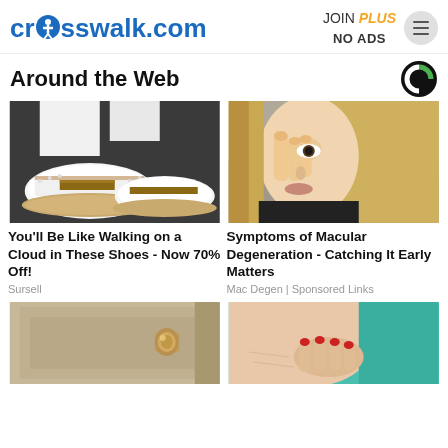crosswalk.com | JOIN PLUS NO ADS
Around the Web
[Figure (photo): Close-up photo of white slip-on shoes with brown stripe and stud embellishments on a dark pavement]
You'll Be Like Walking on a Cloud in These Shoes - Now 70% Off!
Sursell
[Figure (photo): Blonde woman rubbing her eye, appearing distressed, outdoors in a blurred urban background]
Symptoms of Macular Degeneration - Catching It Early Matters
Mac Degen | Sponsored Links
[Figure (photo): Close-up of a door handle or lock on a beige door]
[Figure (photo): Person in a teal/green top with red fingernails scratching or touching skin on chest/shoulder area]